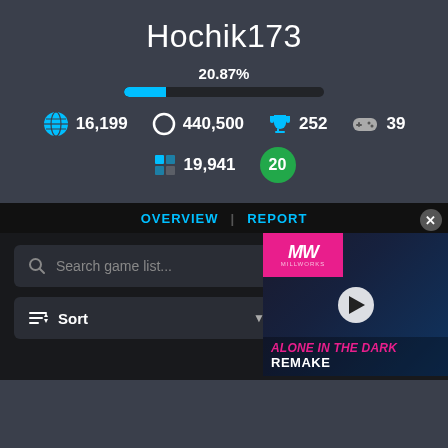Hochik173
20.87%
[Figure (infographic): Progress bar showing 20.87% completion, cyan fill on dark background]
16,199 | 440,500 | 252 | 39
19,941 | 20
OVERVIEW | REPORT
[Figure (screenshot): Search box with magnifier icon and placeholder text 'Search game list...']
[Figure (screenshot): Sort dropdown control with sort icon]
[Figure (advertisement): Ad for 'Alone in the Dark Remake' with MW logo badge, play button, and game title text]